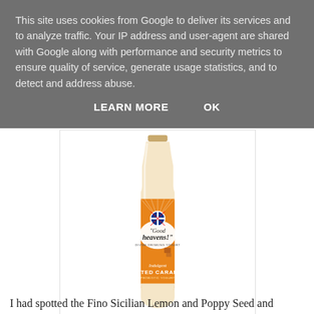This site uses cookies from Google to deliver its services and to analyze traffic. Your IP address and user-agent are shared with Google along with performance and security metrics to ensure quality of service, generate usage statistics, and to detect and address abuse.
LEARN MORE   OK
[Figure (photo): A glass bottle of 'Good heavens!' brand Salted Caramel probiotic drinking yogurt with a British Union Jack flag on the label and orange sunburst label design.]
I had spotted the Fino Sicilian Lemon and Poppy Seed and